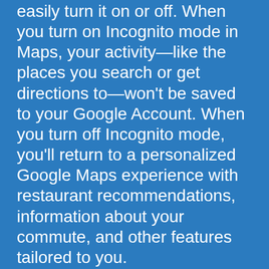easily turn it on or off. When you turn on Incognito mode in Maps, your activity—like the places you search or get directions to—won't be saved to your Google Account. When you turn off Incognito mode, you'll return to a personalized Google Maps experience with restaurant recommendations, information about your commute, and other features tailored to you.
4. Try hands-free privacy controls with the Google Assistant
You can also manage your privacy settings with help from the Assistant.